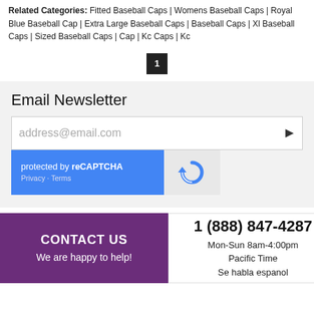Related Categories: Fitted Baseball Caps | Womens Baseball Caps | Royal Blue Baseball Cap | Extra Large Baseball Caps | Baseball Caps | Xl Baseball Caps | Sized Baseball Caps | Cap | Kc Caps | Kc
1
Email Newsletter
address@email.com
protected by reCAPTCHA Privacy · Terms
CONTACT US
We are happy to help!
1 (888) 847-4287
Mon-Sun 8am-4:00pm
Pacific Time
Se habla espanol